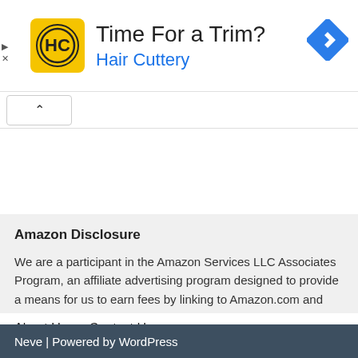[Figure (other): Hair Cuttery advertisement banner with yellow HC logo, text 'Time For a Trim?' and 'Hair Cuttery' in blue, and a blue navigation diamond icon on the right. Play and close controls on the left.]
[Figure (other): Collapse/expand button showing an upward caret (^) symbol in a rounded rectangle button]
Amazon Disclosure
We are a participant in the Amazon Services LLC Associates Program, an affiliate advertising program designed to provide a means for us to earn fees by linking to Amazon.com and affiliated sites.
About Us    Contact Us
Neve | Powered by WordPress